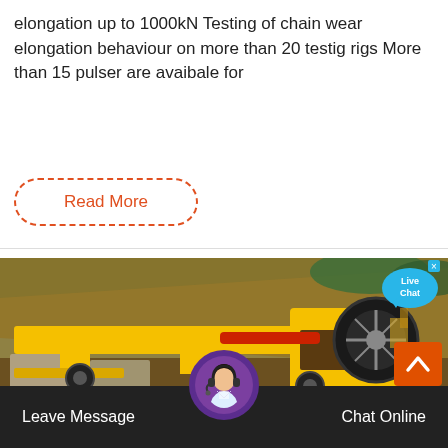elongation up to 1000kN Testing of chain wear elongation behaviour on more than 20 testig rigs More than 15 pulser are avaibale for
Read More
[Figure (photo): Yellow industrial jaw crusher machine installed outdoors on concrete blocks at a mining or construction site, with excavation machinery visible in the background.]
Live Chat
Leave Message
Chat Online